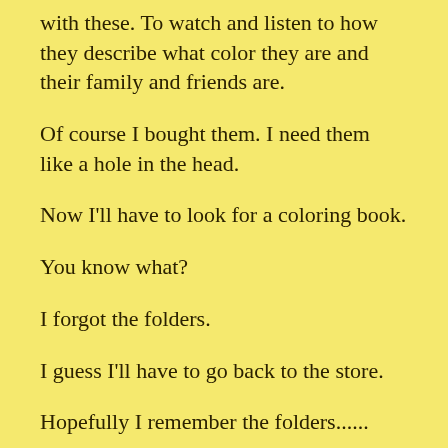with these. To watch and listen to how they describe what color they are and their family and friends are.
Of course I bought them. I need them like a hole in the head.
Now I'll have to look for a coloring book.
You know what?
I forgot the folders.
I guess I'll have to go back to the store.
Hopefully I remember the folders......